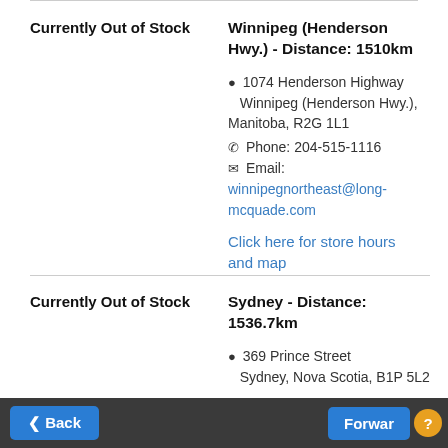Currently Out of Stock
Winnipeg (Henderson Hwy.) - Distance: 1510km
1074 Henderson Highway Winnipeg (Henderson Hwy.), Manitoba, R2G 1L1
Phone: 204-515-1116
Email: winnipegnortheast@long-mcquade.com
Click here for store hours and map
Currently Out of Stock
Sydney - Distance: 1536.7km
369 Prince Street Sydney, Nova Scotia, B1P 5L2
Back   Forward